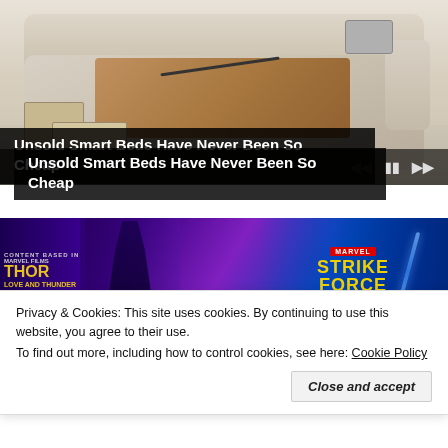[Figure (photo): Video advertisement showing a luxury smart bed with pull-out drawers, massage chairs, and laptop stand. Video player controls visible at bottom with progress bar.]
Unsold Smart Beds Have Never Been So Cheap
[Figure (photo): Marvel Strike Force advertisement banner featuring Thor: Love and Thunder characters including Valkyrie and Mighty Thor, with purple lightning effects.]
Privacy & Cookies: This site uses cookies. By continuing to use this website, you agree to their use.
To find out more, including how to control cookies, see here:
Cookie Policy
Close and accept